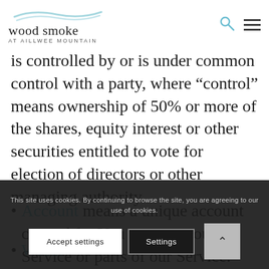wood smoke AT AILLWEE MOUNTAIN
is controlled by or is under common control with a party, where “control” means ownership of 50% or more of the shares, equity interest or other securities entitled to vote for election of directors or other managing authority.
Account means a unique account created for You to access our Service or parts of our Service.
Website refers to woodsmoke.ie, accessible from
This site uses cookies. By continuing to browse the site, you are agreeing to our use of cookies.